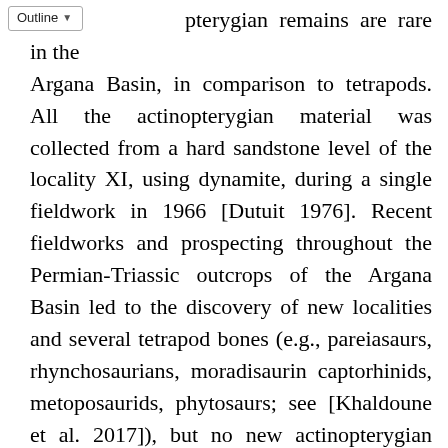Actinopterygian remains are rare in the Argana Basin, in comparison to tetrapods. All the actinopterygian material was collected from a hard sandstone level of the locality XI, using dynamite, during a single fieldwork in 1966 [Dutuit 1976]. Recent fieldworks and prospecting throughout the Permian-Triassic outcrops of the Argana Basin led to the discovery of new localities and several tetrapod bones (e.g., pareiasaurs, rhynchosaurians, moradisaurin captorhinids, metoposaurids, phytosaurs; see [Khaldoune et al. 2017]), but no new actinopterygian remains have been found. This peculiar distribution pattern can partly be explained by the deposition conditions along the basin. Isolated remains are common but the localities providing well preserved material are rare, and most tetrapod localities are related to in-situ, massive, mortality, or post-mortem...